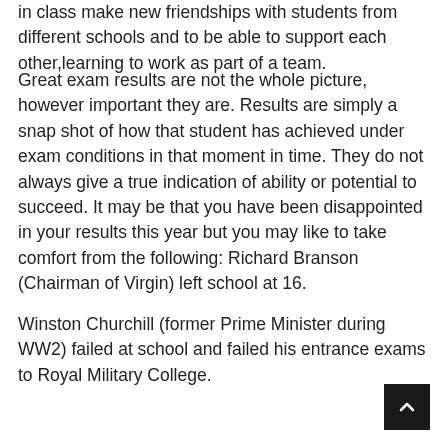in class make new friendships with students from different schools and to be able to support each other,learning to work as part of a team.
Great exam results are not the whole picture, however important they are. Results are simply a snap shot of how that student has achieved under exam conditions in that moment in time. They do not always give a true indication of ability or potential to succeed. It may be that you have been disappointed in your results this year but you may like to take comfort from the following: Richard Branson (Chairman of Virgin) left school at 16.
Winston Churchill (former Prime Minister during WW2) failed at school and failed his entrance exams to Royal Military College.